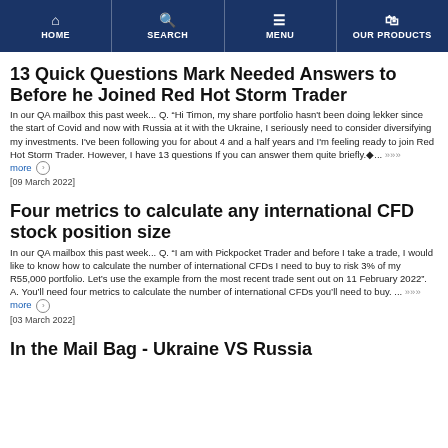HOME | SEARCH | MENU | OUR PRODUCTS
13 Quick Questions Mark Needed Answers to Before he Joined Red Hot Storm Trader
In our QA mailbox this past week... Q. "Hi Timon, my share portfolio hasn't been doing lekker since the start of Covid and now with Russia at it with the Ukraine, I seriously need to consider diversifying my investments. I've been following you for about 4 and a half years and I'm feeling ready to join Red Hot Storm Trader. However, I have 13 questions If you can answer them quite briefly.◆... ››› more
[09 March 2022]
Four metrics to calculate any international CFD stock position size
In our QA mailbox this past week... Q. "I am with Pickpocket Trader and before I take a trade, I would like to know how to calculate the number of international CFDs I need to buy to risk 3% of my R55,000 portfolio. Let's use the example from the most recent trade sent out on 11 February 2022". A. You'll need four metrics to calculate the number of international CFDs you'll need to buy. ... ››› more
[03 March 2022]
In the Mail Bag - Ukraine VS Russia